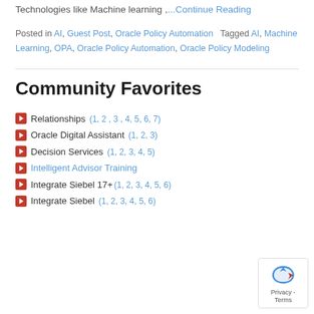Technologies like Machine learning ,…Continue Reading
Posted in AI, Guest Post, Oracle Policy Automation   Tagged AI, Machine Learning, OPA, Oracle Policy Automation, Oracle Policy Modeling
Community Favorites
Relationships (1, 2 , 3 , 4, 5, 6, 7)
Oracle Digital Assistant (1, 2, 3)
Decision Services (1, 2, 3, 4, 5)
Intelligent Advisor Training
Integrate Siebel 17+(1, 2, 3, 4, 5, 6)
Integrate Siebel (1, 2, 3, 4, 5, 6)